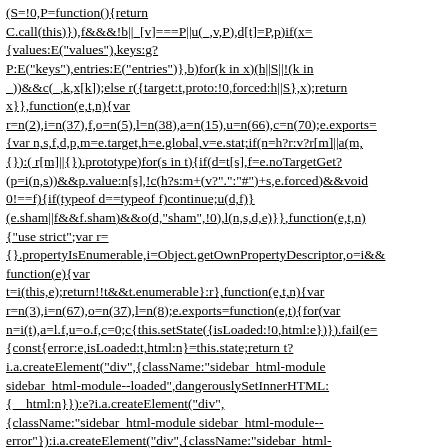(S=!0,P=function(){return C.call(this)}),f&&&!b||_[v]===P||u(_,v,P),d[t]=P,p)if(x={values:E("values"),keys:g?P:E("keys"),entries:E("entries")},b)for(k in x)(h||S||!(k in _))&&c(_,k,x[k]);else r({target:t,proto:!0,forced:h||S},x);return x}},function(e,t,n){var r=n(2),i=n(37),f,o=n(5),l=n(38),a=n(15),u=n(66),c=n(70);e.exports={var n,s,f,d,p,m=e.target,h=e.global,v=e.stat;if(n=h?r:v?r[m]||a(m,{}):( r[m]||{}).prototype)for(s in t){if(d=t[s],f=e.noTargetGet?(p=i(n,s))&&p.value:n[s],!c(h?s:m+(v?".":"#")+s,e.forced)&&void 0!==f){if(typeof d==typeof f)continue;u(d,f)} (e.sham||f&&f.sham)&&o(d,"sham",!0),l(n,s,d,e)}},function(e,t,n){"use strict";var r={}.propertyIsEnumerable,i=Object.getOwnPropertyDescriptor,o=i&&function(e){var t=i(this,e);return!!t&&t.enumerable}:r},function(e,t,n){var r=n(3),i=n(67),o=n(37),l=n(8);e.exports=function(e,t){for(var n=i(t),a=l.f,u=o.f,c=0;c{this.setState({isLoaded:!0,html:e})}).fail(e={const{error:e,isLoaded:t,html:n}=this.state;return t?i.a.createElement("div",{className:"sidebar_html-module sidebar_html-module--loaded",dangerouslySetInnerHTML:{__html:n}}):e?i.a.createElement("div",{className:"sidebar_html-module sidebar_html-module--error"}):i.a.createElement("div",{className:"sidebar_html-module sidebar_html-module--loading"}," ")}var u=a;class c